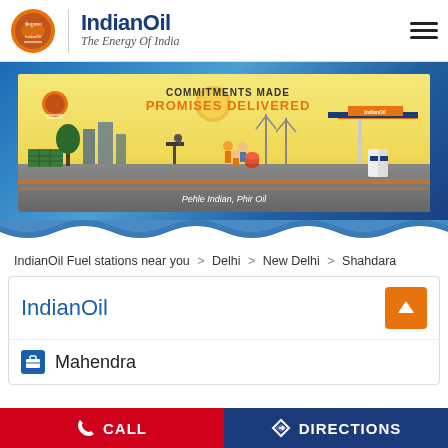[Figure (logo): IndianOil logo with circular emblem, brand name 'IndianOil' and tagline 'The Energy Of India']
[Figure (illustration): IndianOil promotional banner with text 'COMMITMENTS MADE PROMISES DELIVERED' and 'Pehle Indian, Phir Oil', showing industrial workers, wind turbines, oil pump, gas station, solar panels]
IndianOil Fuel stations near you > Delhi > New Delhi > Shahdara
IndianOil
Mahendra
CALL
DIRECTIONS